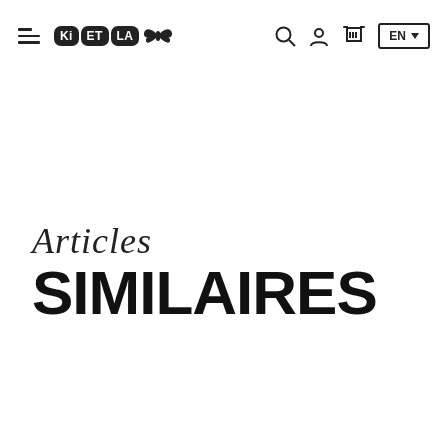Ki ET LA — Navigation header with hamburger menu, logo, search, account, cart icons, and EN language selector
Articles SIMILAIRES